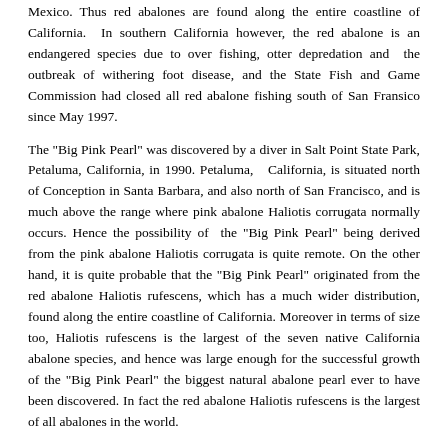Mexico. Thus red abalones are found along the entire coastline of California.  In southern California however, the red abalone is an endangered species due to over fishing, otter depredation and the outbreak of withering foot disease, and the State Fish and Game Commission had closed all red abalone fishing south of San Fransico since May 1997.
The "Big Pink Pearl" was discovered by a diver in Salt Point State Park, Petaluma, California, in 1990. Petaluma,  California, is situated north of Conception in Santa Barbara, and also north of San Francisco, and is much above the range where pink abalone Haliotis corrugata normally occurs. Hence the possibility of the "Big Pink Pearl" being derived from the pink abalone Haliotis corrugata is quite remote. On the other hand, it is quite probable that the "Big Pink Pearl" originated from the red abalone Haliotis rufescens, which has a much wider distribution, found along the entire coastline of California. Moreover in terms of size too, Haliotis rufescens is the largest of the seven native California abalone species, and hence was large enough for the successful growth of the "Big Pink Pearl" the biggest natural abalone pearl ever to have been discovered. In fact the red abalone Haliotis rufescens is the largest of all abalones in the world.
Haliotis corrugata - the Pink Abalone
Classification of Haliotis corrugata :-